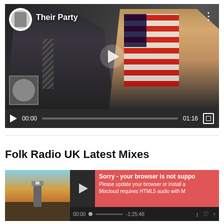[Figure (screenshot): Embedded video player showing 'Their Party' with two people and an American flag in the background. Controls show 00:00 / 01:16.]
Folk Radio UK Latest Mixes
[Figure (screenshot): Mixcloud audio player with lighthouse thumbnail image. Error message: 'Sorry - your browser is not suppo[rted]'. 'Please update your browser or install a[...]'. 'Mixcloud requires HTML5 audio with M[...]'. Controls show 00:00 / -1:25:48.]